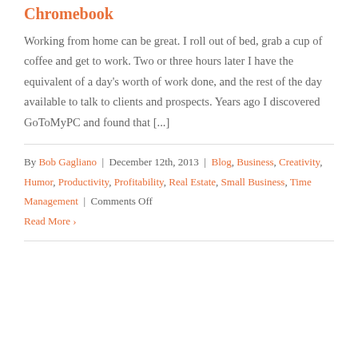Chromebook
Working from home can be great. I roll out of bed, grab a cup of coffee and get to work. Two or three hours later I have the equivalent of a day's worth of work done, and the rest of the day available to talk to clients and prospects. Years ago I discovered GoToMyPC and found that [...]
By Bob Gagliano | December 12th, 2013 | Blog, Business, Creativity, Humor, Productivity, Profitability, Real Estate, Small Business, Time Management | Comments Off
Read More >